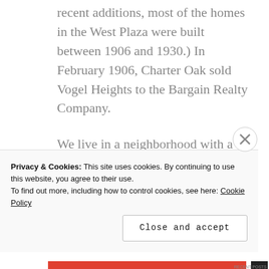recent additions, most of the homes in the West Plaza were built between 1906 and 1930.) In February 1906, Charter Oak sold Vogel Heights to the Bargain Realty Company.
We live in a neighborhood with a rich history…..
Sponsored Content
Privacy & Cookies: This site uses cookies. By continuing to use this website, you agree to their use.
To find out more, including how to control cookies, see here: Cookie Policy
Close and accept